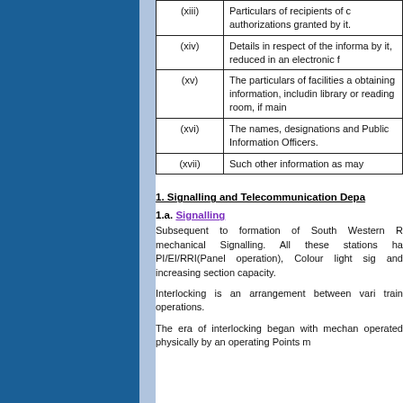| Item | Description |
| --- | --- |
| (xiii) | Particulars of recipients of c authorizations granted by it. |
| (xiv) | Details in respect of the informa by it, reduced in an electronic f |
| (xv) | The particulars of facilities a obtaining information, includin library or reading room, if main |
| (xvi) | The names, designations and Public Information Officers. |
| (xvii) | Such other information as may |
1. Signalling and Telecommunication Depa
1.a. Signalling
Subsequent to formation of South Western R mechanical Signalling. All these stations ha PI/EI/RRI(Panel operation), Colour light sig and increasing section capacity.
Interlocking is an arrangement between vari train operations.
The era of interlocking began with mechan operated physically by an operating Points m